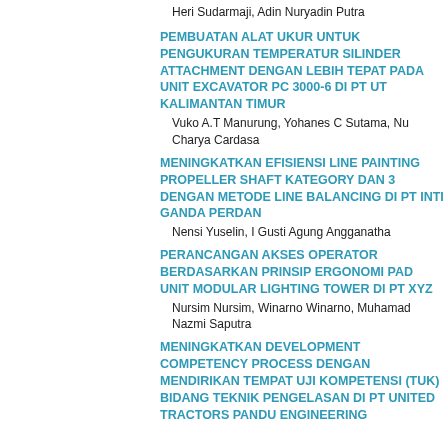Heri Sudarmaji, Adin Nuryadin Putra
PEMBUATAN ALAT UKUR UNTUK PENGUKURAN TEMPERATUR SILINDER ATTACHMENT DENGAN LEBIH TEPAT PADA UNIT EXCAVATOR PC 3000-6 DI PT UT KALIMANTAN TIMUR
Vuko A.T Manurung, Yohanes C Sutama, Nu Charya Cardasa
MENINGKATKAN EFISIENSI LINE PAINTING PROPELLER SHAFT KATEGORY DAN 3 DENGAN METODE LINE BALANCING DI PT INTI GANDA PERDAN
Nensi Yuselin, I Gusti Agung Angganatha
PERANCANGAN AKSES OPERATOR BERDASARKAN PRINSIP ERGONOMI PAD UNIT MODULAR LIGHTING TOWER DI PT XYZ
Nursim Nursim, Winarno Winarno, Muhamad Nazmi Saputra
MENINGKATKAN DEVELOPMENT COMPETENCY PROCESS DENGAN MENDIRIKAN TEMPAT UJI KOMPETENSI (TUK) BIDANG TEKNIK PENGELASAN DI PT UNITED TRACTORS PANDU ENGINEERING